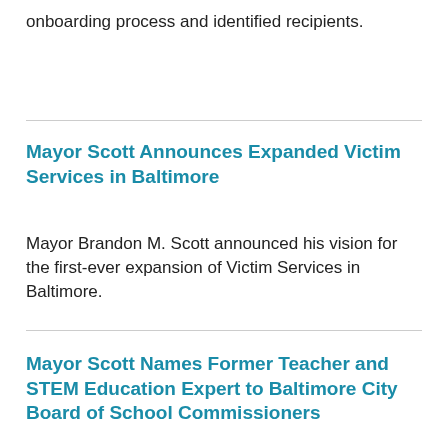onboarding process and identified recipients.
Mayor Scott Announces Expanded Victim Services in Baltimore
Mayor Brandon M. Scott announced his vision for the first-ever expansion of Victim Services in Baltimore.
Mayor Scott Names Former Teacher and STEM Education Expert to Baltimore City Board of School Commissioners